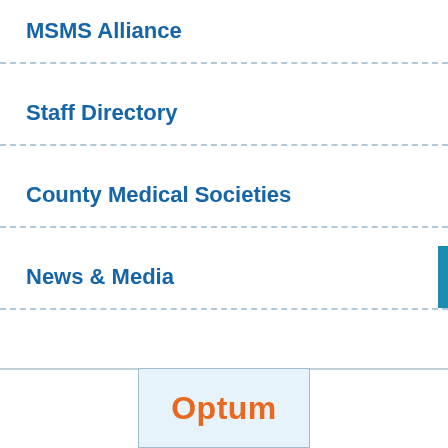MSMS Alliance
Staff Directory
County Medical Societies
News & Media
[Figure (logo): Optum logo in orange text on light blue background]